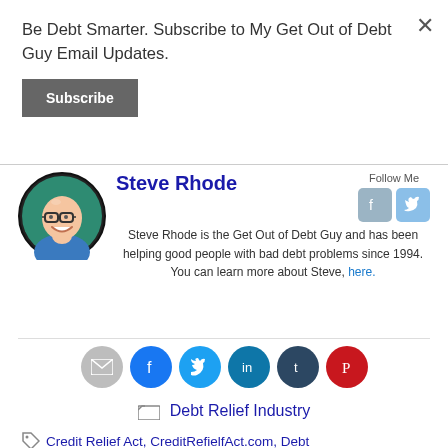Be Debt Smarter. Subscribe to My Get Out of Debt Guy Email Updates.
Subscribe
×
[Figure (illustration): Cartoon avatar of Steve Rhode: bald man with glasses and a smile, wearing a blue shirt, with teal circular background]
Steve Rhode
Follow Me
Steve Rhode is the Get Out of Debt Guy and has been helping good people with bad debt problems since 1994. You can learn more about Steve, here.
[Figure (infographic): Social share buttons: email (grey), facebook (blue), twitter (light blue), linkedin (teal), tumblr (dark), pinterest (red)]
Debt Relief Industry
Credit Relief Act, CreditRefielfAct.com, Debt